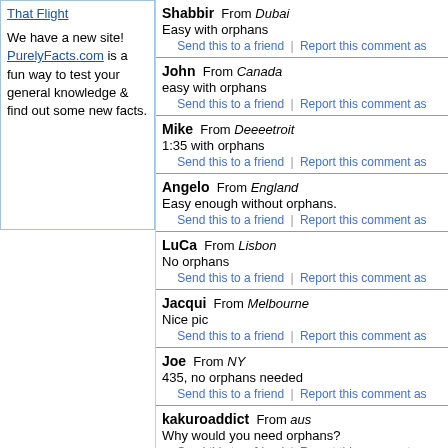That Flight

We have a new site! PurelyFacts.com is a fun way to test your general knowledge & find out some new facts.
Shabbir From Dubai
Easy with orphans
Send this to a friend | Report this comment as
John From Canada
easy with orphans
Send this to a friend | Report this comment as
Mike From Deeeetroit
1:35 with orphans
Send this to a friend | Report this comment as
Angelo From England
Easy enough without orphans.
Send this to a friend | Report this comment as
LuCa From Lisbon
No orphans
Send this to a friend | Report this comment as
Jacqui From Melbourne
Nice pic
Send this to a friend | Report this comment as
Joe From NY
435, no orphans needed
Send this to a friend | Report this comment as
kakuroaddict From aus
Why would you need orphans?
Send this to a friend | Report this comment as
Kris From Canada